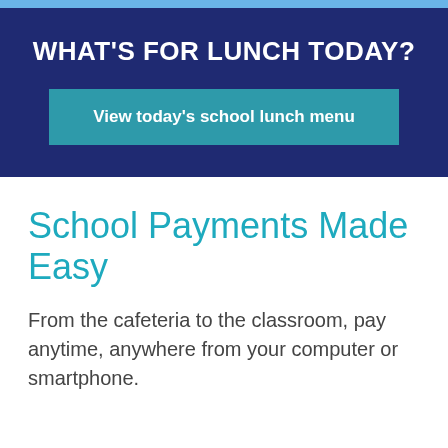WHAT'S FOR LUNCH TODAY?
View today's school lunch menu
School Payments Made Easy
From the cafeteria to the classroom, pay anytime, anywhere from your computer or smartphone.